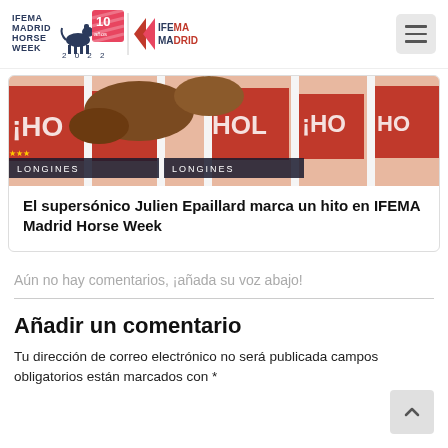IFEMA MADRID HORSE WEEK 2022 / IFEMA MADRID
[Figure (photo): Horse jumping over fence with sponsors Longines and Hola branding, equestrian event photo]
El supersónico Julien Epaillard marca un hito en IFEMA Madrid Horse Week
Aún no hay comentarios, ¡añada su voz abajo!
Añadir un comentario
Tu dirección de correo electrónico no será publicada campos obligatorios están marcados con *